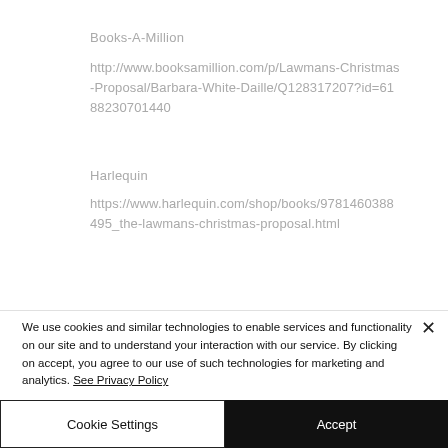Books-A-Million
http://www.booksamillion.com/p/Lawmans-Christmas-Proposal/Barbara-White-Daille/Q128317207?id=6188230701440
Harlequin
https://www.harlequin.com/shop/books/9781460388495_the-lawmans-christmas-proposal.html
We use cookies and similar technologies to enable services and functionality on our site and to understand your interaction with our service. By clicking on accept, you agree to our use of such technologies for marketing and analytics. See Privacy Policy
Cookie Settings
Accept